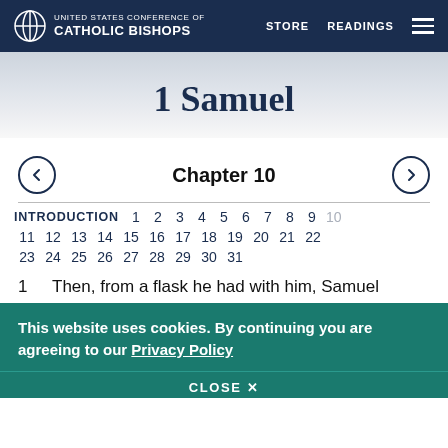UNITED STATES CONFERENCE OF CATHOLIC BISHOPS  STORE  READINGS
1 Samuel
Chapter 10
INTRODUCTION  1  2  3  4  5  6  7  8  9  10  11  12  13  14  15  16  17  18  19  20  21  22  23  24  25  26  27  28  29  30  31
1  Then, from a flask he had with him, Samuel
This website uses cookies. By continuing you are agreeing to our Privacy Policy
CLOSE